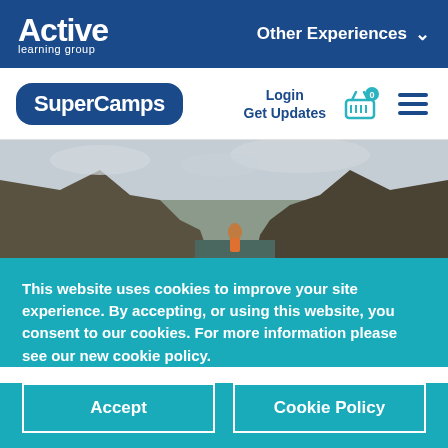Active learning group — Other Experiences
[Figure (logo): SuperCamps logo with Login, Get Updates, basket and hamburger menu navigation]
[Figure (photo): Child standing between rocky coastal cliffs with grey overcast sky]
This website uses cookies to improve your site experience. By accepting, or using this website, you consent to our cookies. For more information please see our new cookie policy.
Accept
Cookie Policy